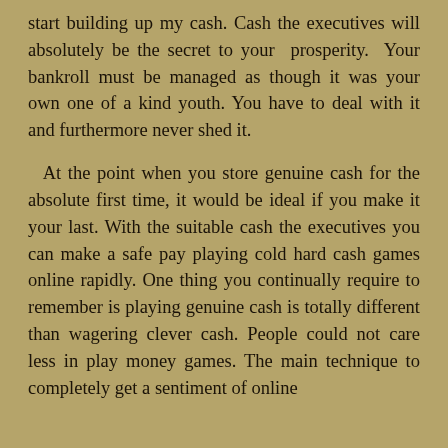start building up my cash. Cash the executives will absolutely be the secret to your prosperity. Your bankroll must be managed as though it was your own one of a kind youth. You have to deal with it and furthermore never shed it.

At the point when you store genuine cash for the absolute first time, it would be ideal if you make it your last. With the suitable cash the executives you can make a safe pay playing cold hard cash games online rapidly. One thing you continually require to remember is playing genuine cash is totally different than wagering clever cash. People could not care less in play money games. The main technique to completely get a sentiment of online